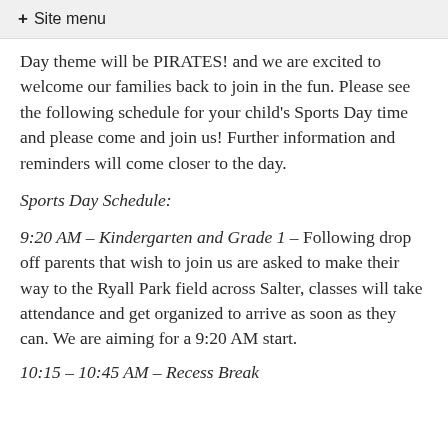+ Site menu
Day theme will be PIRATES! and we are excited to welcome our families back to join in the fun. Please see the following schedule for your child's Sports Day time and please come and join us! Further information and reminders will come closer to the day.
Sports Day Schedule:
9:20 AM – Kindergarten and Grade 1 – Following drop off parents that wish to join us are asked to make their way to the Ryall Park field across Salter, classes will take attendance and get organized to arrive as soon as they can. We are aiming for a 9:20 AM start.
10:15 – 10:45 AM – Recess Break